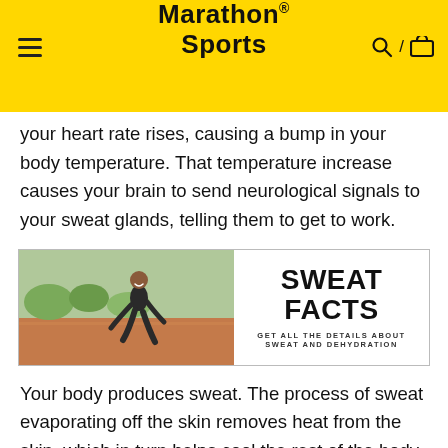Marathon Sports
your heart rate rises, causing a bump in your body temperature. That temperature increase causes your brain to send neurological signals to your sweat glands, telling them to get to work.
[Figure (infographic): Banner image showing a runner on a track on the left side, and on the right side bold text reading 'SWEAT FACTS' with subtitle 'GET ALL THE DETAILS ABOUT SWEAT AND DEHYDRATION']
Your body produces sweat. The process of sweat evaporating off the skin removes heat from the skin, which in turn helps cool the rest of the body (remember, your skin is the body's largest organ!) The more your internal body temperature increases, the more you sweat. Your body needs to pull that fluid from somewhere – and some of it comes from the fluids surrounding your cells, which negatively